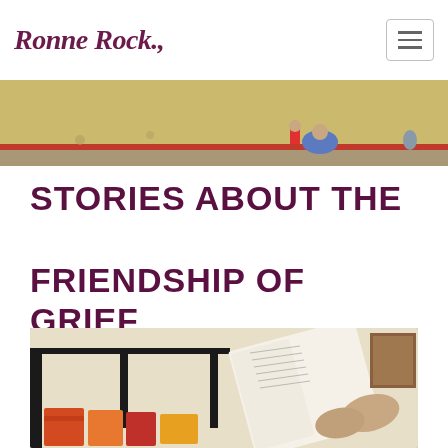Ronne Rock
[Figure (photo): Street scene photo showing a yellow wall with red trim, a person sitting on the ground and a small child standing nearby]
STORIES ABOUT THE FRIENDSHIP OF GRIEF
[Figure (photo): Interior bedroom photo showing a black metal bed frame with colorful pillows and an open Bible or book held in hands]